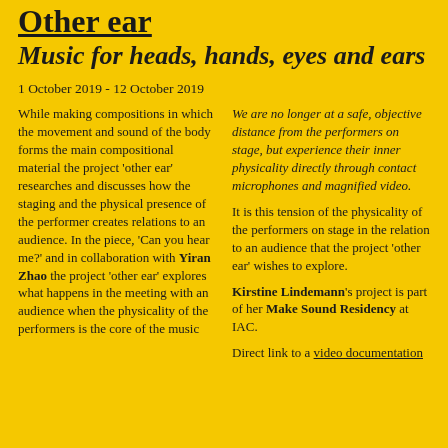Other ear
Music for heads, hands, eyes and ears
1 October 2019 - 12 October 2019
While making compositions in which the movement and sound of the body forms the main compositional material the project 'other ear' researches and discusses how the staging and the physical presence of the performer creates relations to an audience. In the piece, 'Can you hear me?' and in collaboration with Yiran Zhao the project 'other ear' explores what happens in the meeting with an audience when the physicality of the performers is the core of the music
We are no longer at a safe, objective distance from the performers on stage, but experience their inner physicality directly through contact microphones and magnified video. It is this tension of the physicality of the performers on stage in the relation to an audience that the project 'other ear' wishes to explore. Kirstine Lindemann's project is part of her Make Sound Residency at IAC. Direct link to a video documentation